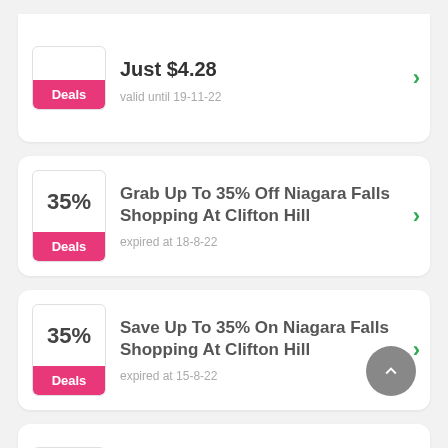Just $4.28
valid until 19-11-22
Grab Up To 35% Off Niagara Falls Shopping At Clifton Hill
expired at 18-8-22
Save Up To 35% On Niagara Falls Shopping At Clifton Hill
expired at 15-8-22
Fallsview Casino Resort Up To 35% Off